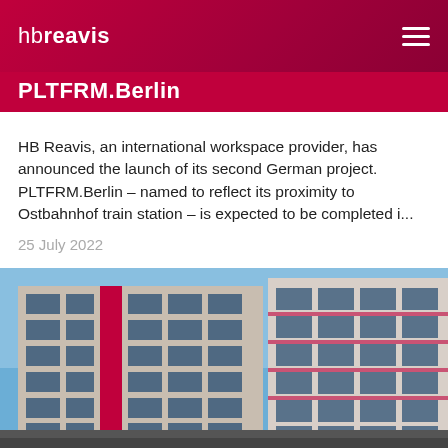hbreavis
PLTFRM.Berlin
HB Reavis, an international workspace provider, has announced the launch of its second German project. PLTFRM.Berlin – named to reflect its proximity to Ostbahnhof train station – is expected to be completed i...
25 July 2022
[Figure (photo): Exterior photo of PLTFRM.Berlin building, a modern office complex with red and white facade panels and large windows, photographed against a blue sky.]